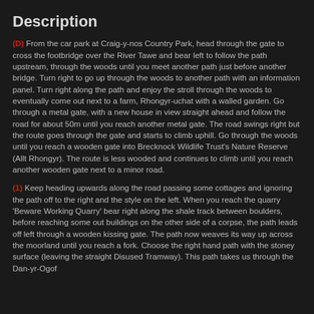Description
(D) From the car park at Craig-y-nos Country Park, head through the gate to cross the footbridge over the River Tawe and bear left to follow the path upstream, through the woods until you meet another path just before another bridge. Turn right to go up through the woods to another path with an information panel. Turn right along the path and enjoy the stroll through the woods to eventually come out next to a farm, Rhongyr-uchat with a walled garden. Go through a metal gate, with a new house in view straight ahead and follow the road for about 50m until you reach another metal gate. The road swings right but the route goes through the gate and starts to climb uphill. Go through the woods until you reach a wooden gate into Brecknock Wildlife Trust's Nature Reserve (Allt Rhongyr). The route is less wooded and continues to climb until you reach another wooden gate next to a minor road.
(1) Keep heading upwards along the road passing some cottages and ignoring the path off to the right and the style on the left. When you reach the quarry 'Beware Working Quarry' bear right along the shale track between boulders, before reaching some out buildings on the other side of a corpse, the path leads off left through a wooden kissing gate. The path now weaves its way up across the moorland until you reach a fork. Choose the right hand path with the stoney surface (leaving the straight Disused Tramway). This path takes us through the Dan-yr-Ogof...